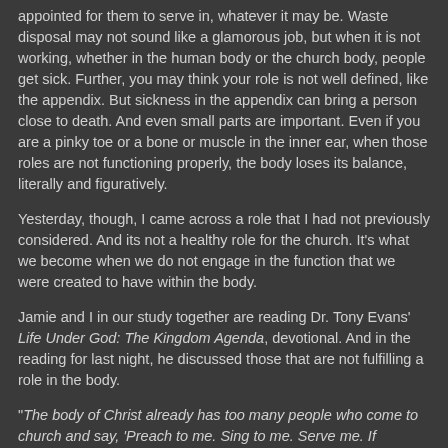appointed for them to serve in, whatever it may be. Waste disposal may not sound like a glamorous job, but when it is not working, whether in the human body or the church body, people get sick. Further, you may think your role is not well defined, like the appendix. But sickness in the appendix can bring a person close to death. And even small parts are important. Even if you are a pinky toe or a bone or muscle in the inner ear, when those roles are not functioning properly, the body loses its balance, literally and figuratively.
Yesterday, though, I came across a role that I had not previously considered. And its not a healthy role for the church. It's what we become when we do not engage in the function that we were created to have within the body.
Jamie and I in our study together are reading Dr. Tony Evans' Life Under God: The Kingdom Agenda, devotional. And in the reading for last night, he discussed those that are not fulfilling a role in the body.
"The body of Christ already has too many people who come to church and say, 'Preach to me. Sing to me. Serve me. If the visit is my self I'll election front self I bold